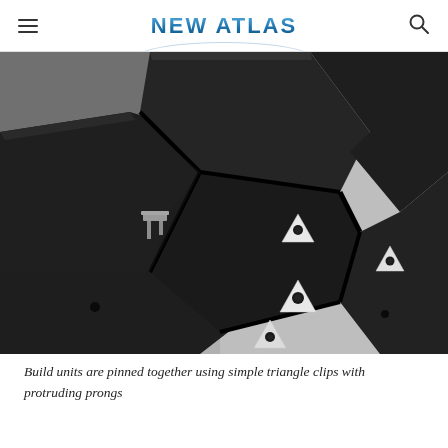NEW ATLAS
[Figure (photo): Close-up view of modular build units pinned together with white triangular clips featuring protruding prongs, against a light background. The dark hexagonal/pentagonal panels are joined at their edges using multiple triangle-shaped metal or plastic fasteners.]
Build units are pinned together using simple triangle clips with protruding prongs